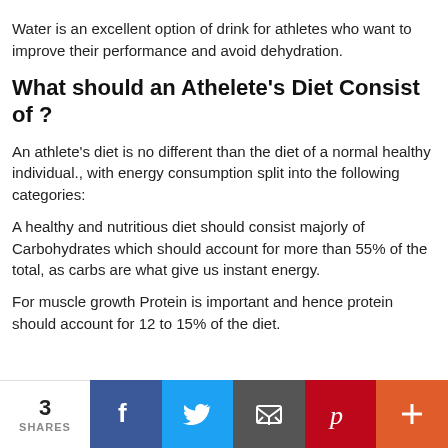Water is an excellent option of drink for athletes who want to improve their performance and avoid dehydration.
What should an Athelete's Diet Consist of ?
An athlete's diet is no different than the diet of a normal healthy individual., with energy consumption split into the following categories:
A healthy and nutritious diet should consist majorly of Carbohydrates which should account for more than 55% of the total, as carbs are what give us instant energy.
For muscle growth Protein is important and hence protein should account for 12 to 15% of the diet.